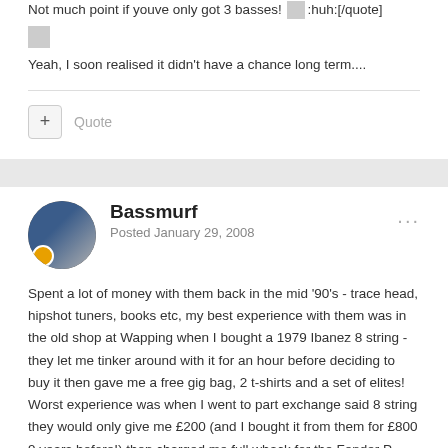Not much point if youve only got 3 basses! [emoji:huh:][/quote]
Yeah, I soon realised it didn't have a chance long term....
Bassmurf
Posted January 29, 2008
Spent a lot of money with them back in the mid '90's - trace head, hipshot tuners, books etc, my best experience with them was in the old shop at Wapping when I bought a 1979 Ibanez 8 string - they let me tinker around with it for an hour before deciding to buy it then gave me a free gig bag, 2 t-shirts and a set of elites!
Worst experience was when I went to part exchange said 8 string they would only give me £200 (and I bought it from them for £800 9 years before!) then charged me full whack for the Fender P bass I was after, didn't have the right one in stock so